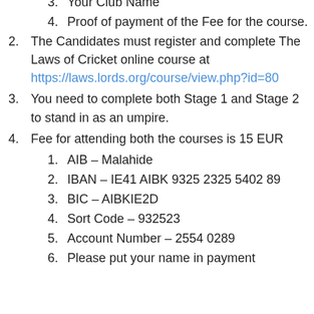3. Your Club Name
4. Proof of payment of the Fee for the course.
2. The Candidates must register and complete The Laws of Cricket online course at https://laws.lords.org/course/view.php?id=80
3. You need to complete both Stage 1 and Stage 2 to stand in as an umpire.
4. Fee for attending both the courses is 15 EUR
1. AIB – Malahide
2. IBAN – IE41 AIBK 9325 2325 5402 89
3. BIC – AIBKIE2D
4. Sort Code – 932523
5. Account Number – 2554 0289
6. Please put your name in payment